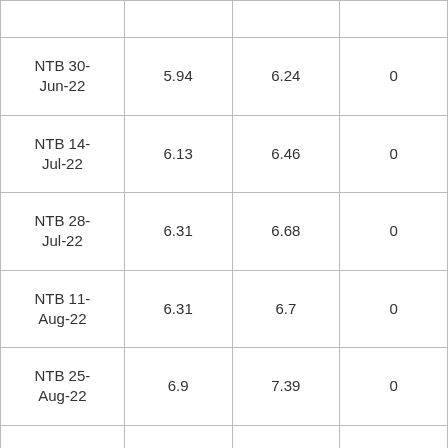|  |  |  |  |
| NTB 30-Jun-22 | 5.94 | 6.24 | 0 |
| NTB 14-Jul-22 | 6.13 | 6.46 | 0 |
| NTB 28-Jul-22 | 6.31 | 6.68 | 0 |
| NTB 11-Aug-22 | 6.31 | 6.7 | 0 |
| NTB 25-Aug-22 | 6.9 | 7.39 | 0 |
| OMO 28-Sep-21 | 5.63 | 5.64 | 0 |